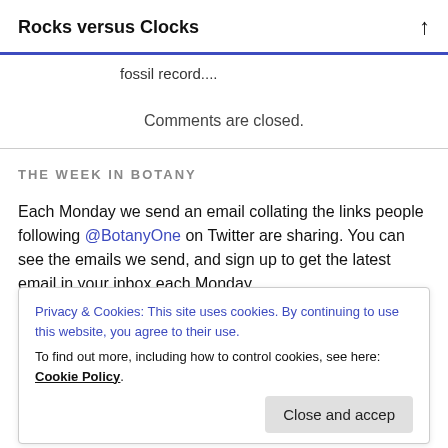Rocks versus Clocks
fossil record....
Comments are closed.
THE WEEK IN BOTANY
Each Monday we send an email collating the links people following @BotanyOne on Twitter are sharing. You can see the emails we send, and sign up to get the latest email in your inbox each Monday
Privacy & Cookies: This site uses cookies. By continuing to use this website, you agree to their use.
To find out more, including how to control cookies, see here: Cookie Policy